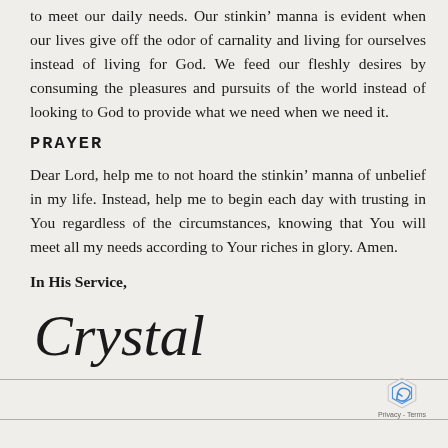to meet our daily needs. Our stinkin’ manna is evident when our lives give off the odor of carnality and living for ourselves instead of living for God. We feed our fleshly desires by consuming the pleasures and pursuits of the world instead of looking to God to provide what we need when we need it.
PRAYER
Dear Lord, help me to not hoard the stinkin’ manna of unbelief in my life. Instead, help me to begin each day with trusting in You regardless of the circumstances, knowing that You will meet all my needs according to Your riches in glory. Amen.
In His Service,
[Figure (illustration): Cursive handwritten signature reading 'Crystal']